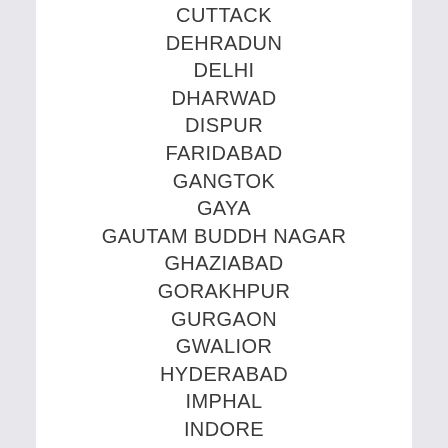CUTTACK
DEHRADUN
DELHI
DHARWAD
DISPUR
FARIDABAD
GANGTOK
GAYA
GAUTAM BUDDH NAGAR
GHAZIABAD
GORAKHPUR
GURGAON
GWALIOR
HYDERABAD
IMPHAL
INDORE
ITANAGAR